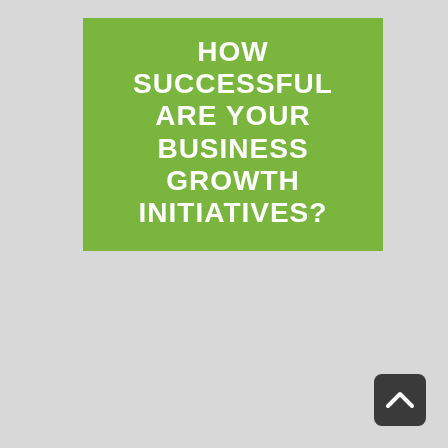HOW SUCCESSFUL ARE YOUR BUSINESS GROWTH INITIATIVES?
[Figure (other): Dark rounded square button with a white upward-pointing chevron arrow, used as a scroll-to-top navigation button]